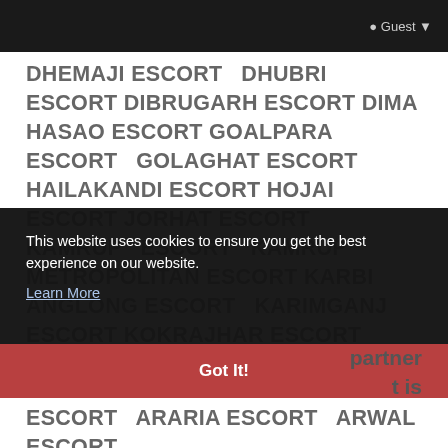Guest
DHEMAJI ESCORT DHUBRI ESCORT DIBRUGARH ESCORT DIMA HASAO ESCORT GOALPARA ESCORT GOLAGHAT ESCORT HAILAKANDI ESCORT HOJAI ESCORT JORHAT ESCORT KAMRUP ESCORT KAMRUP METROPOLITAN ESCORT KARBI ANGLONG ESCORT KARIMGANJ ESCORT KOKRAJHAR ESCORT LAKHIMPUR ESCORT MAJULI ESCORT MORIGAON ESCORT NAGAON ESCORT NALBARI ESCORT ...entire if we have a partner ...t is ...orts ...for ...SAR ...ARA ...ORT ...ONG ESCORT ARARIA ESCORT ARWAL ESCORT
This website uses cookies to ensure you get the best experience on our website.
Learn More
Got It!